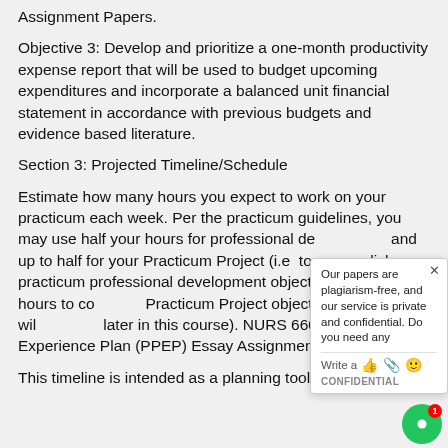Assignment Papers.
Objective 3: Develop and prioritize a one-month productivity expense report that will be used to budget upcoming expenditures and incorporate a balanced unit financial statement in accordance with previous budgets and evidence based literature.
Section 3: Projected Timeline/Schedule
Estimate how many hours you expect to work on your practicum each week. Per the practicum guidelines, you may use half your hours for professional development and up to half for your Practicum Project (i.e. to accomplish your practicum professional development objectives and 72 hours to complete Practicum Project objectives, which you will later in this course). NURS 6600 : Practicum Experience Plan (PPEP) Essay Assignment
This timeline is intended as a planning tool; your actual